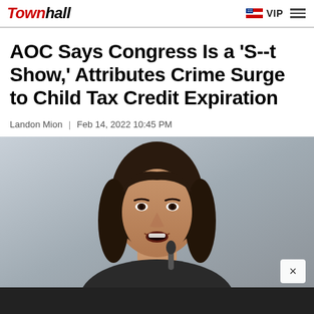Townhall | VIP
AOC Says Congress Is a 'S--t Show,' Attributes Crime Surge to Child Tax Credit Expiration
Landon Mion | Feb 14, 2022 10:45 PM
[Figure (photo): Photo of a woman with long dark hair speaking, mouth open, against a gray background]